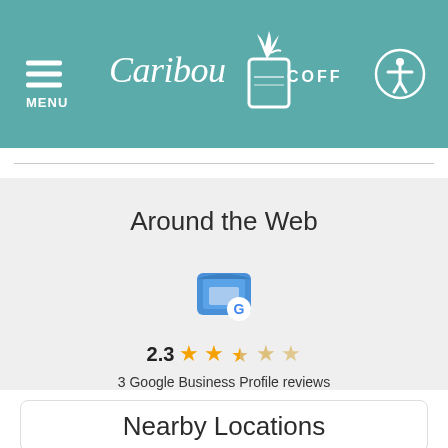MENU | Caribou Coffee
Around the Web
[Figure (logo): Google Business Profile icon — blue storefront with G badge]
2.3 ★★★☆☆ 3 Google Business Profile reviews
Nearby Locations